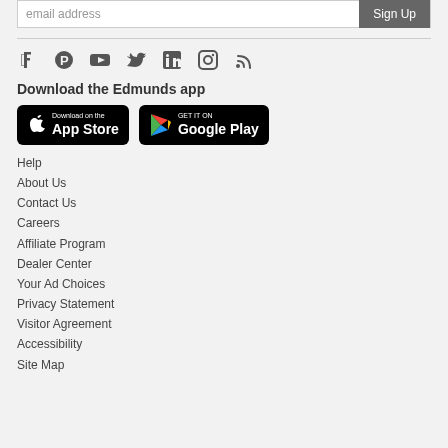[Figure (other): Email address input field with Sign Up button]
[Figure (other): Social media icons: Facebook, Pinterest, YouTube, Twitter, LinkedIn, Instagram, RSS]
Download the Edmunds app
[Figure (other): App Store download badge (Download on the App Store)]
[Figure (other): Google Play download badge (Get it on Google Play)]
Help
About Us
Contact Us
Careers
Affiliate Program
Dealer Center
Your Ad Choices
Privacy Statement
Visitor Agreement
Accessibility
Site Map